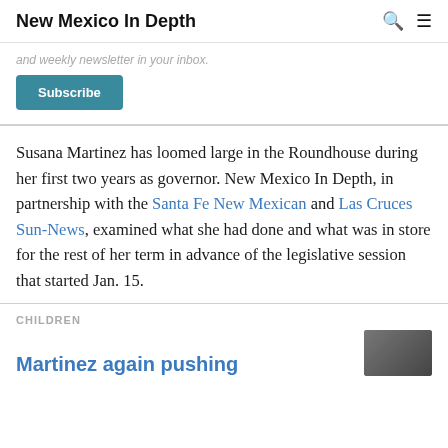New Mexico In Depth
and weekly newsletter in your inbox.
Subscribe
Susana Martinez has loomed large in the Roundhouse during her first two years as governor. New Mexico In Depth, in partnership with the Santa Fe New Mexican and Las Cruces Sun-News, examined what she had done and what was in store for the rest of her term in advance of the legislative session that started Jan. 15.
CHILDREN
Martinez again pushing